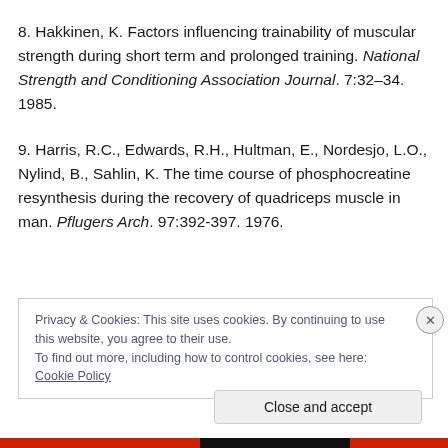8. Hakkinen, K. Factors influencing trainability of muscular strength during short term and prolonged training. National Strength and Conditioning Association Journal. 7:32–34. 1985.
9. Harris, R.C., Edwards, R.H., Hultman, E., Nordesjo, L.O., Nylind, B., Sahlin, K. The time course of phosphocreatine resynthesis during the recovery of quadriceps muscle in man. Pflugers Arch. 97:392-397. 1976.
Privacy & Cookies: This site uses cookies. By continuing to use this website, you agree to their use. To find out more, including how to control cookies, see here: Cookie Policy
Close and accept